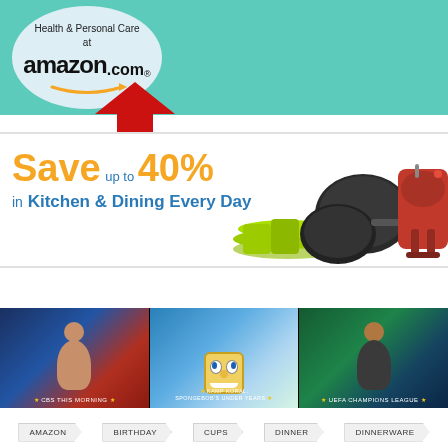[Figure (logo): Health & Personal Care at amazon.com logo banner with teal background]
[Figure (infographic): Red upward arrow above a Save up to 40% in Kitchen & Dining Every Day promotional banner with kitchen items (plates, pans, mixer) on the right]
[Figure (screenshot): Three TV show panels: CBS This Morning (woman), Kamp Koral: SpongeBob's Under Years (SpongeBob), UEFA Champions League (athlete)]
AMAZON
BIRTHDAY
CUPS
DINNER
DINNERWARE